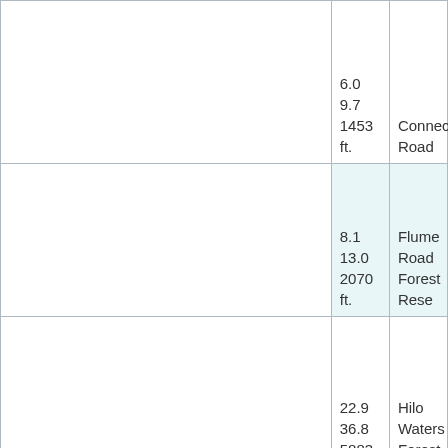|  | 6.0
9.7
1453 ft. | Connecting Road |
|  | 8.1
13.0
2070 ft. | Flume Road Forest Reserve |
|  | 22.9
36.8
5883 ft. | Hilo Watershed Forest Reserve |